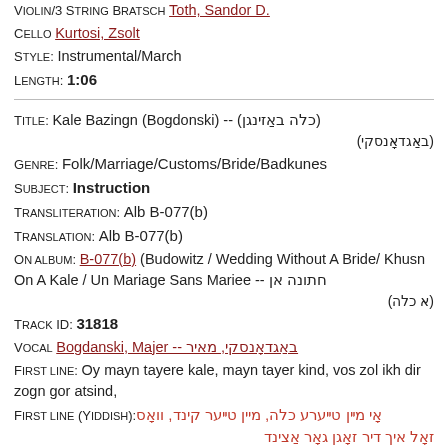Violin/3 String Bratsch Toth, Sandor D.
Cello Kurtosi, Zsolt
Style: Instrumental/March
Length: 1:06
Title: Kale Bazingn (Bogdonski) -- (כלה באַזינגן) (באַגדאָנסקי)
Genre: Folk/Marriage/Customs/Bride/Badkunes
Subject: Instruction
Transliteration: Alb B-077(b)
Translation: Alb B-077(b)
On album: B-077(b) (Budowitz / Wedding Without A Bride/ Khusn On A Kale / Un Mariage Sans Mariee -- חתונה אן (א כלה)
Track ID: 31818
Vocal Bogdanski, Majer -- באַגדאָנסקי, מאיר
First line: Oy mayn tayere kale, mayn tayer kind, vos zol ikh dir zogn gor atsind,
First line (Yiddish): אָי מײן טײערע כלה, מיין טײער קינד, וואָס זאָל איך דיר זאָגן גאָר אַצינד
Language: Yiddish
Style: Recitative/Acapella
Length: 1:31